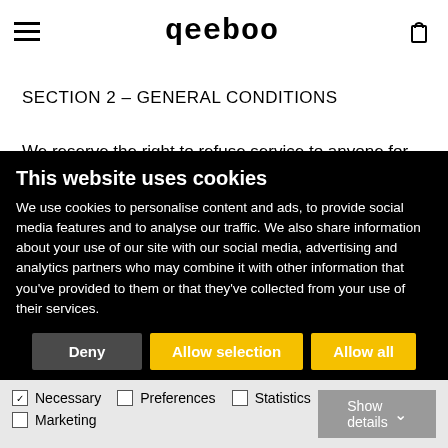qeeboo
SECTION 2 – GENERAL CONDITIONS
We reserve the right to refuse service to anyone for any reason at any time.
You understand that your content (not including credit card information), may be transferred unencrypted and involve (a) transmissions over various networks; and (b) changes
This website uses cookies
We use cookies to personalise content and ads, to provide social media features and to analyse our traffic. We also share information about your use of our site with our social media, advertising and analytics partners who may combine it with other information that you've provided to them or that they've collected from your use of their services.
Deny | Allow selection | Allow all
Necessary  Preferences  Statistics  Marketing  Show details